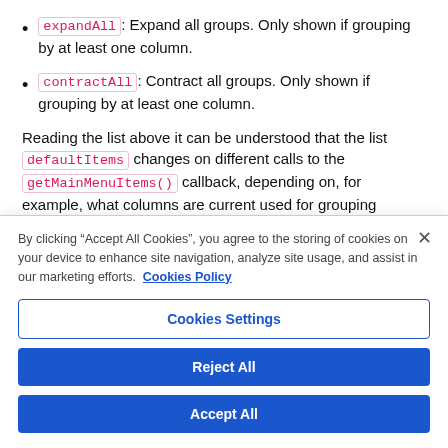expandAll: Expand all groups. Only shown if grouping by at least one column.
contractAll: Contract all groups. Only shown if grouping by at least one column.
Reading the list above it can be understood that the list defaultItems changes on different calls to the getMainMenuItems() callback, depending on, for example, what columns are current used for grouping
By clicking “Accept All Cookies”, you agree to the storing of cookies on your device to enhance site navigation, analyze site usage, and assist in our marketing efforts. Cookies Policy
Cookies Settings
Reject All
Accept All